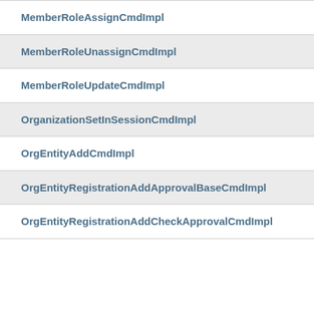MemberRoleAssignCmdImpl
MemberRoleUnassignCmdImpl
MemberRoleUpdateCmdImpl
OrganizationSetInSessionCmdImpl
OrgEntityAddCmdImpl
OrgEntityRegistrationAddApprovalBaseCmdImpl
OrgEntityRegistrationAddCheckApprovalCmdImpl